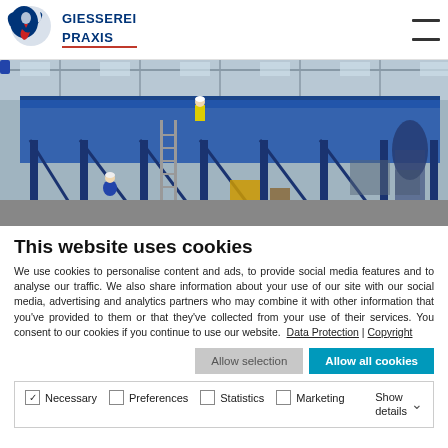[Figure (logo): Giesserei Praxis logo with eagle/foundry icon and blue/red text]
[Figure (photo): Industrial foundry/factory interior with blue steel conveyor or structural framework, workers in hard hats, large warehouse space]
This website uses cookies
We use cookies to personalise content and ads, to provide social media features and to analyse our traffic. We also share information about your use of our site with our social media, advertising and analytics partners who may combine it with other information that you've provided to them or that they've collected from your use of their services. You consent to our cookies if you continue to use our website.  Data Protection | Copyright
Allow selection | Allow all cookies
Necessary  Preferences  Statistics  Marketing  Show details